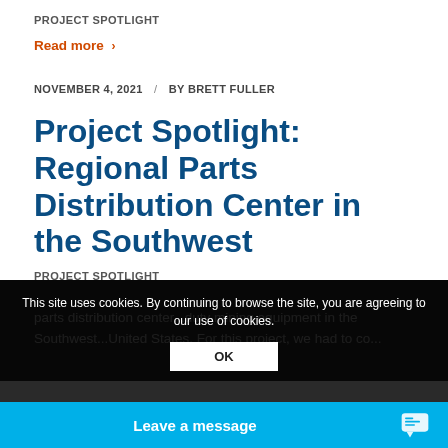PROJECT SPOTLIGHT
Read more >
NOVEMBER 4, 2021 / BY BRETT FULLER
Project Spotlight: Regional Parts Distribution Center in the Southwest
PROJECT SPOTLIGHT
This site uses cookies. By continuing to browse the site, you are agreeing to our use of cookies.
parts distribution center...duty mining equipment in the Southwest...United States. For this project, we had to co...
OK
Leave a message